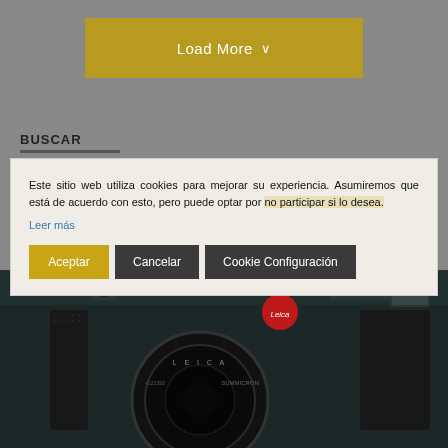[Figure (other): Gray background page with Load More button at top]
Load More ∨
BUSCAR
Este sitio web utiliza cookies para mejorar su experiencia. Asumiremos que está de acuerdo con esto, pero puede optar por no participar si lo desea.
Leer más
Aceptar
Cancelar
Cookie Configuración
[Figure (photo): Close-up photo of a black Leica camera showing the top plate and lens]